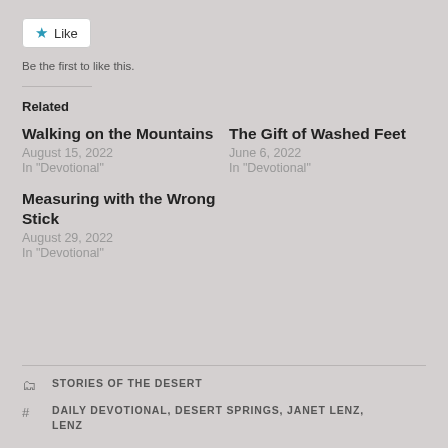[Figure (other): Like button widget with star icon]
Be the first to like this.
Related
Walking on the Mountains
August 15, 2022
In "Devotional"
The Gift of Washed Feet
June 6, 2022
In "Devotional"
Measuring with the Wrong Stick
August 29, 2022
In "Devotional"
STORIES OF THE DESERT
DAILY DEVOTIONAL, DESERT SPRINGS, JANET LENZ, LENZ